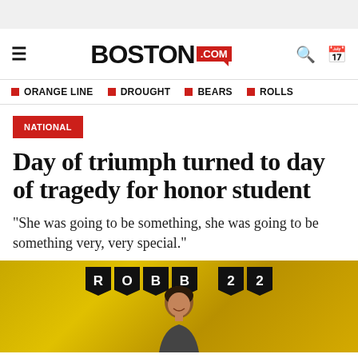BOSTON.com
ORANGE LINE  DROUGHT  BEARS  ROLLS
NATIONAL
Day of triumph turned to day of tragedy for honor student
"She was going to be something, she was going to be something very, very special."
[Figure (photo): A smiling young girl in front of a gold glitter backdrop with black pennant banners spelling ROBB 22]